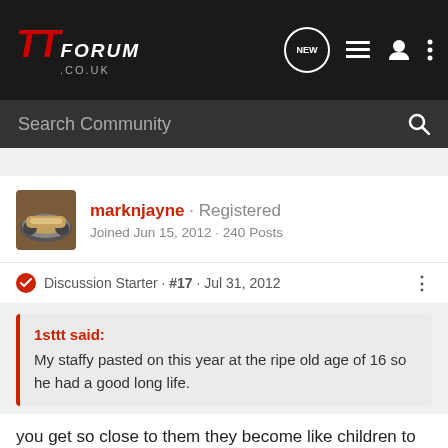TT FORUM .CO.UK
Search Community
[Figure (photo): User avatar showing a Porsche/sports car thumbnail]
marknjayne · Registered
Joined Jun 15, 2012 · 240 Posts
Discussion Starter · #17 · Jul 31, 2012
1sttt said:
My staffy pasted on this year at the ripe old age of 16 so he had a good long life.
you get so close to them they become like children to you,we even stay in the uk for holidays as they have to come with us wherever we go,